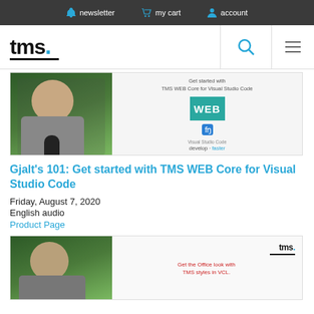newsletter  my cart  account
[Figure (logo): tms. logo with blue dot and underline]
[Figure (screenshot): Banner: Get started with TMS WEB Core for Visual Studio Code — person photo on left, WEB box and VS Code icon on right, develop faster tagline]
Gjalt's 101: Get started with TMS WEB Core for Visual Studio Code
Friday, August 7, 2020
English audio
Product Page
[Figure (screenshot): Second banner: person photo on left, tms. logo and 'Get the Office look with TMS styles in VCL.' text on right]